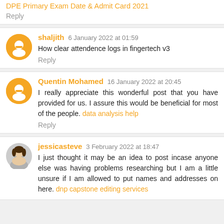DPE Primary Exam Date & Admit Card 2021
Reply
shaljith 6 January 2022 at 01:59
How clear attendence logs in fingertech v3
Reply
Quentin Mohamed 16 January 2022 at 20:45
I really appreciate this wonderful post that you have provided for us. I assure this would be beneficial for most of the people. data analysis help
Reply
jessicasteve 3 February 2022 at 18:47
I just thought it may be an idea to post incase anyone else was having problems researching but I am a little unsure if I am allowed to put names and addresses on here. dnp capstone editing services